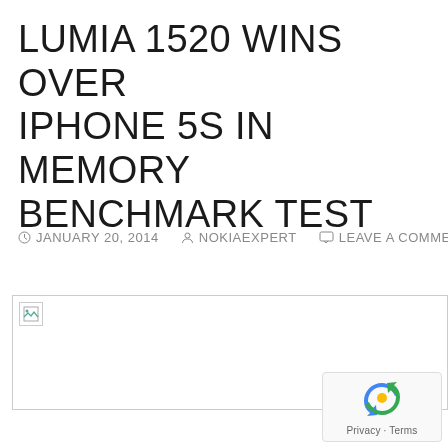LUMIA 1520 WINS OVER IPHONE 5S IN MEMORY BENCHMARK TEST
JANUARY 20, 2014  NOKIAEXPERT  LEAVE A COMMENT
[Figure (other): Broken/missing image placeholder at top of article body]
[Figure (other): reCAPTCHA widget showing Privacy · Terms]